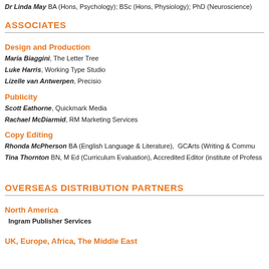Dr Linda May BA (Hons, Psychology); BSC (Hons, Physiology); PhD (Neuroscience)
ASSOCIATES
Design and Production
Maria Biaggini, The Letter Tree
Luke Harris, Working Type Studio
Lizelle van Antwerpen, Precisio
Publicity
Scott Eathorne, Quickmark Media
Rachael McDiarmid, RM Marketing Services
Copy Editing
Rhonda McPherson BA (English Language & Literature),  GCArts (Writing & Commu...
Tina Thornton BN, M Ed (Curriculum Evaluation), Accredited Editor (institute of Profess...
OVERSEAS DISTRIBUTION PARTNERS
North America
Ingram Publisher Services
UK, Europe, Africa, The Middle East